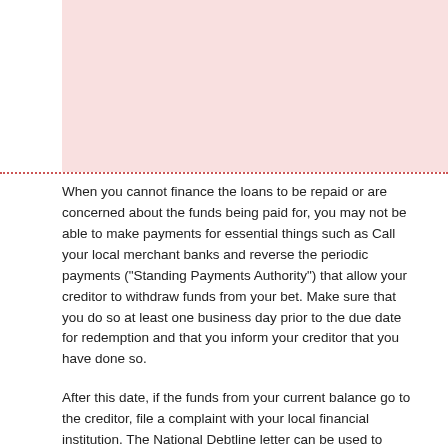[Figure (other): Pink/rose colored rectangular banner block at top of page]
When you cannot finance the loans to be repaid or are concerned about the funds being paid for, you may not be able to make payments for essential things such as Call your local merchant banks and reverse the periodic payments ("Standing Payments Authority") that allow your creditor to withdraw funds from your bet. Make sure that you do so at least one business day prior to the due date for redemption and that you inform your creditor that you have done so.
After this date, if the funds from your current balance go to the creditor, file a complaint with your local financial institution. The National Debtline letter can be used to revoke a continuing debit from your institution. Be sure to inform the payday creditor as soon as possible that you have voided the regular payout due to difficulty in repaying the funds.
They still indebtedness the indebtedness and the investor can continue on loading curiosity and interest, so it is thing that you